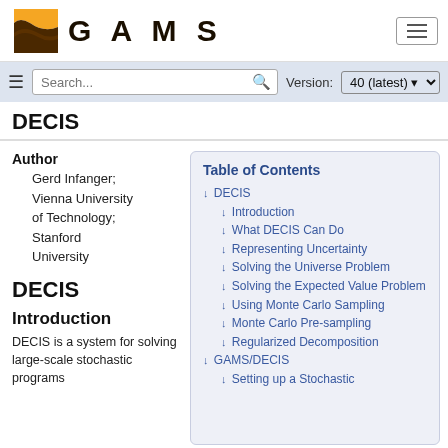[Figure (logo): GAMS logo with orange/brown wave graphic and GAMS text in large bold letters]
DECIS — GAMS documentation page header with search bar and version selector (40, latest)
DECIS
Author
    Gerd Infanger; Vienna University of Technology; Stanford University
DECIS
Introduction
DECIS is a system for solving large-scale stochastic programs
| Table of Contents |
| --- |
| ↓ DECIS |
| ↓ Introduction |
| ↓ What DECIS Can Do |
| ↓ Representing Uncertainty |
| ↓ Solving the Universe Problem |
| ↓ Solving the Expected Value Problem |
| ↓ Using Monte Carlo Sampling |
| ↓ Monte Carlo Pre-sampling |
| ↓ Regularized Decomposition |
| ↓ GAMS/DECIS |
| ↓ Setting up a Stochastic |